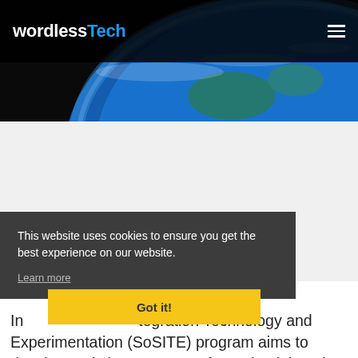wordlessTech
[Figure (illustration): Globe/Earth from space image in the header area, showing blue Earth curvature against dark space background]
This website uses cookies to ensure you get the best experience on our website.
Learn more
Got it!
DARPA's System of Systems (SoS) Integration Technology and Experimentation (SoSITE) program aims to develop and show concepts for maintaining air superiority.